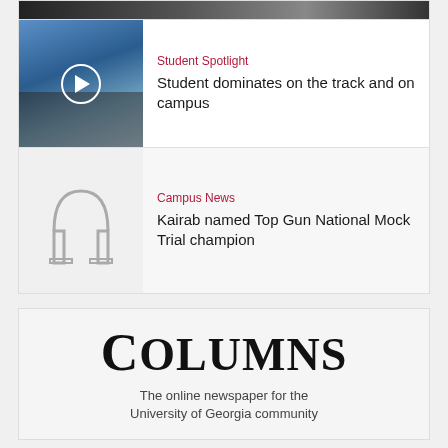[Figure (photo): Partial top strip showing a person, cropped]
[Figure (photo): Video thumbnail showing a student on a ladder against blue sky with play button overlay]
Student Spotlight
Student dominates on the track and on campus
[Figure (illustration): Gray illustrated arch icon (UGA arch)]
Campus News
Kairab named Top Gun National Mock Trial champion
[Figure (logo): Columns logo — The online newspaper for the University of Georgia community]
The online newspaper for the University of Georgia community
[Figure (logo): @UGAResearch logo]